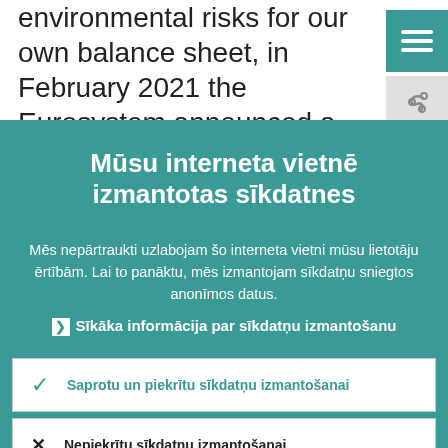environmental risks for our own balance sheet, in February 2021 the Eurosystem announced a common stance for applying climate change-related sustainable and
Mūsu interneta vietnē izmantotas sīkdatnes
Mēs nepārtraukti uzlabojam šo interneta vietni mūsu lietotāju ērtībām. Lai to panāktu, mēs izmantojam sīkdatņu sniegtos anonīmos datus.
Sīkāka informācija par sīkdatņu izmantošanu
Saprotu un piekrītu sīkdatņu izmantošanai
Nepiekrītu sīkdatņu izmantošanai